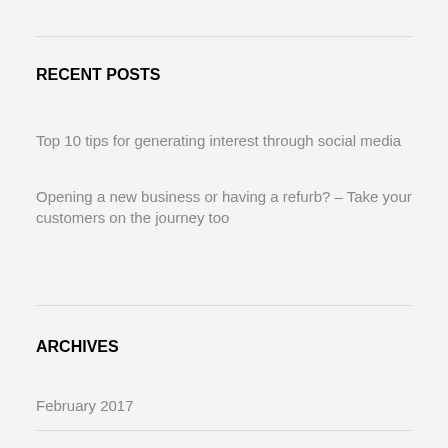RECENT POSTS
Top 10 tips for generating interest through social media
Opening a new business or having a refurb? – Take your customers on the journey too
ARCHIVES
February 2017